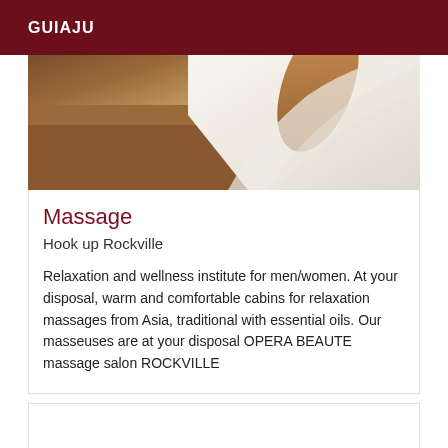GUIAJU
[Figure (photo): Partial view of a massage table with white sheets and a towel, warm brown tones visible]
Massage
Hook up Rockville
Relaxation and wellness institute for men/women. At your disposal, warm and comfortable cabins for relaxation massages from Asia, traditional with essential oils. Our masseuses are at your disposal OPERA BEAUTE massage salon ROCKVILLE